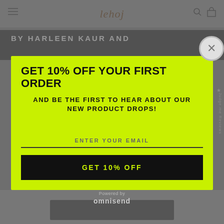[Figure (screenshot): Website background with navigation bar showing hamburger menu, logo 'lehoj', search and cart icons. Below is a dark strip with partially visible text 'BY HARLEEN KAUR AND'. The background is greyed out due to modal overlay. A circular close button (X) is visible at top right.]
GET 10% OFF YOUR FIRST ORDER
AND BE THE FIRST TO HEAR ABOUT OUR NEW PRODUCT DROPS!
ENTER YOUR EMAIL
GET 10% OFF
Powered by omnisend